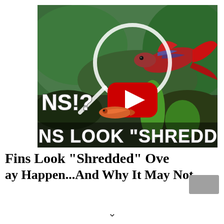[Figure (screenshot): YouTube video thumbnail showing a betta fish (red/blue) in an aquatic planted tank with a magnifying glass circle overlay, a smaller orange fish below, text overlay reading 'INS!?' and 'INS LOOK SHREDDED OV', and a YouTube play button in the center.]
Fins Look "Shredded" Ove
ay Happen...And Why It May Not